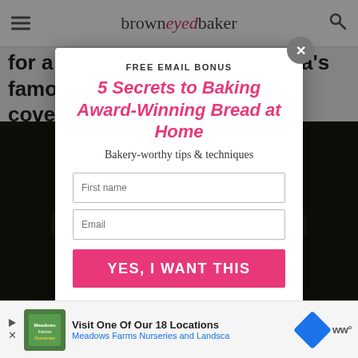browneyedbaker
for a copycat recipe for Panera's famous soup, I've got you covered!
[Figure (screenshot): Bowl of creamy soup in a white bowl on dark background]
FREE EMAIL BONUS
5 Secrets to Baking Award-Winning Bread at Home
Bakery-worthy tips & techniques
First name (input field)
Email (input field)
YES, I WANT THIS
Visit One Of Our 18 Locations
Meadows Farms Nurseries and Landsca